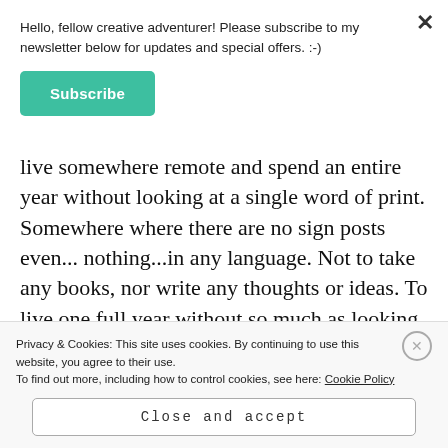Hello, fellow creative adventurer! Please subscribe to my newsletter below for updates and special offers. :-)
Subscribe
live somewhere remote and spend an entire year without looking at a single word of print. Somewhere where there are no sign posts even... nothing...in any language. Not to take any books, nor write any thoughts or ideas. To live one full year without so much as looking at a calendar. Would it
Privacy & Cookies: This site uses cookies. By continuing to use this website, you agree to their use.
To find out more, including how to control cookies, see here: Cookie Policy
Close and accept